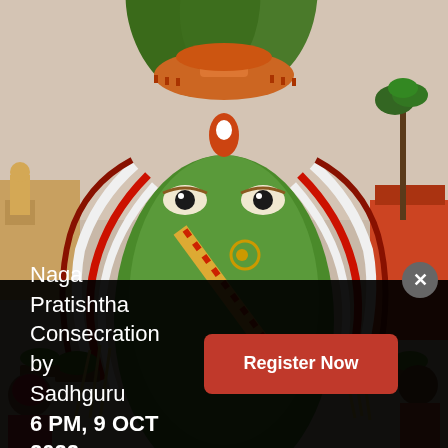[Figure (photo): A large decorative idol made of green grass/plants shaped as a face with eyes and nose, adorned with red and white flower garlands, an orange umbrella canopy on top with banana leaves, and worshippers/people visible on the sides during a religious procession.]
Naga Pratishtha Consecration by Sadhguru
6 PM, 9 OCT 2022
Register Now